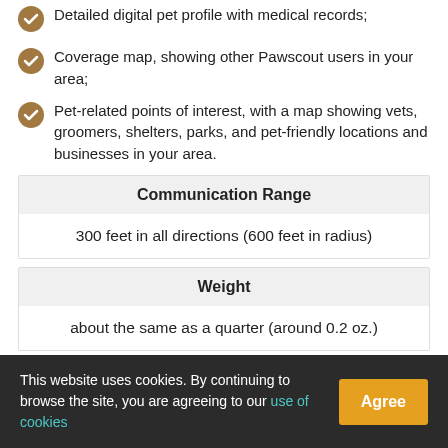Detailed digital pet profile with medical records;
Coverage map, showing other Pawscout users in your area;
Pet-related points of interest, with a map showing vets, groomers, shelters, parks, and pet-friendly locations and businesses in your area.
| Communication Range |
| --- |
| 300 feet in all directions (600 feet in radius) |
| Weight |
| --- |
| about the same as a quarter (around 0.2 oz.) |
| Shockproof |
| --- |
[Figure (other): Red circle with minus/dash icon indicating a negative or unavailable feature]
This website uses cookies. By continuing to browse the site, you are agreeing to our use of cookies